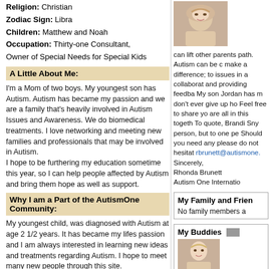Religion: Christian
Zodiac Sign: Libra
Children: Matthew and Noah
Occupation: Thirty-one Consultant, Owner of Special Needs for Special Kids
A Little About Me:
I'm a Mom of two boys. My youngest son has Autism. Autism has became my passion and we are a family that's heavily involved in Autism Issues and Awareness. We do biomedical treatments. I love networking and meeting new families and professionals that may be involved in Autism.
I hope to be furthering my education sometime this year, so I can help people affected by Autism and bring them hope as well as support.
Why I am a Part of the AutismOne Community:
My youngest child, was diagnosed with Autism at age 2 1/2 years. It has became my lifes passion and I am always interested in learning new ideas and treatments regarding Autism. I hope to meet many new people through this site.
What I am Here For:
To learn about new ideas and treatments re: Autism.
[Figure (photo): Profile photo of a blonde woman smiling]
can lift other parents path. Autism can be c make a difference; to issues in a collaborat and providing feedba My son Jordan has m don't ever give up ho Feel free to share yo are all in this togeth To quote, Brandi Sny person, but to one pe Should you need any please do not hesitat rbrunett@autismone. Sincerely, Rhonda Brunett Autism One Internatio
My Family and Frien
No family members a
My Buddies
[Figure (photo): Small buddy profile photo of a blonde woman]